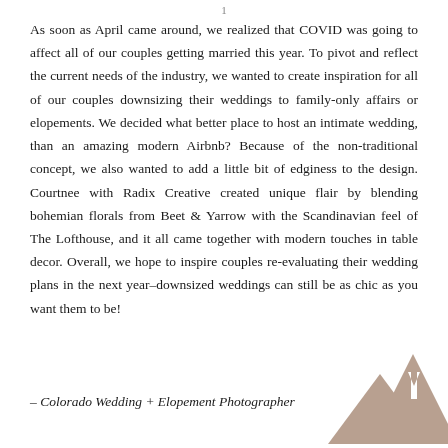As soon as April came around, we realized that COVID was going to affect all of our couples getting married this year. To pivot and reflect the current needs of the industry, we wanted to create inspiration for all of our couples downsizing their weddings to family-only affairs or elopements. We decided what better place to host an intimate wedding, than an amazing modern Airbnb? Because of the non-traditional concept, we also wanted to add a little bit of edginess to the design. Courtnee with Radix Creative created unique flair by blending bohemian florals from Beet & Yarrow with the Scandinavian feel of The Lofthouse, and it all came together with modern touches in table decor. Overall, we hope to inspire couples re-evaluating their wedding plans in the next year–downsized weddings can still be as chic as you want them to be!
– Colorado Wedding + Elopement Photographer
[Figure (logo): Mountain-shaped logo with an upward arrow, in tan/taupe color, bottom right corner]